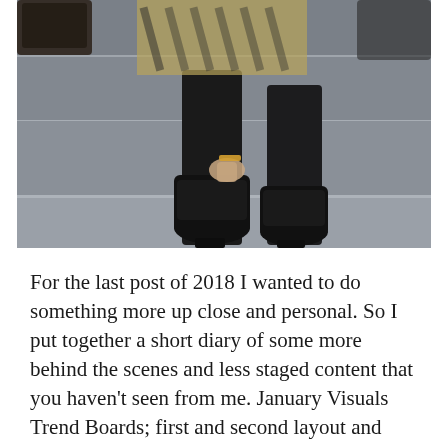[Figure (photo): A person sitting on concrete steps wearing black leather pants, a patterned top, and black ankle boots. Only the lower body is visible. The scene is outdoors on grey stone stairs.]
For the last post of 2018 I wanted to do something more up close and personal. So I put together a short diary of some more behind the scenes and less staged content that you haven't seen from me. January Visuals Trend Boards; first and second layout and line all done by me, the third [...]